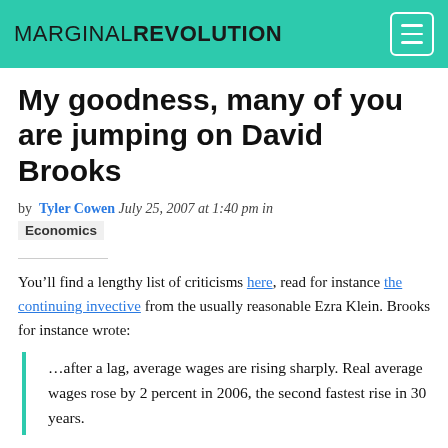MARGINAL REVOLUTION
My goodness, many of you are jumping on David Brooks
by Tyler Cowen July 25, 2007 at 1:40 pm in Economics
You’ll find a lengthy list of criticisms here, read for instance the continuing invective from the usually reasonable Ezra Klein. Brooks for instance wrote:
…after a lag, average wages are rising sharply. Real average wages rose by 2 percent in 2006, the second fastest rise in 30 years.
This met with many screams, not the least because he did not report the median wage.  Yet the following shows up as reported in Brooks’s own NYT: